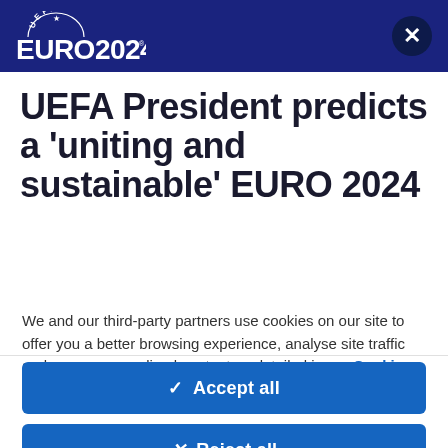UEFA EURO 2024
UEFA President predicts a 'uniting and sustainable' EURO 2024
We and our third-party partners use cookies on our site to offer you a better browsing experience, analyse site traffic and serve personalised content as detailed in our Cookie Policy.
✓  Accept all
✕  Reject all